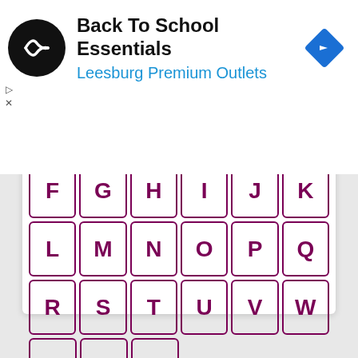[Figure (logo): Advertisement banner: black circular logo with double arrow icon, text 'Back To School Essentials' in bold and 'Leesburg Premium Outlets' in blue, blue diamond navigation icon on right]
[Figure (other): Alphabet index grid with letters #, A-Z in purple-bordered square tiles arranged in rows]